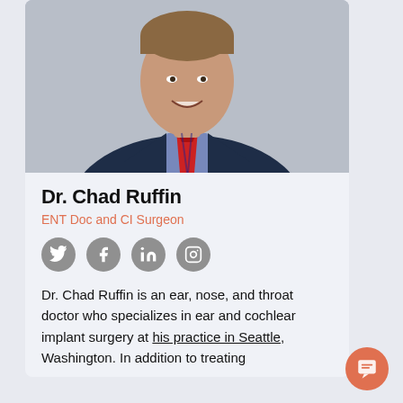[Figure (photo): Professional headshot of Dr. Chad Ruffin, a man in a dark navy suit with a blue checkered shirt and red striped tie, smiling against a grey background]
Dr. Chad Ruffin
ENT Doc and CI Surgeon
[Figure (infographic): Row of four social media icon circles (grey): Twitter, Facebook, LinkedIn, Instagram]
Dr. Chad Ruffin is an ear, nose, and throat doctor who specializes in ear and cochlear implant surgery at his practice in Seattle, Washington. In addition to treating